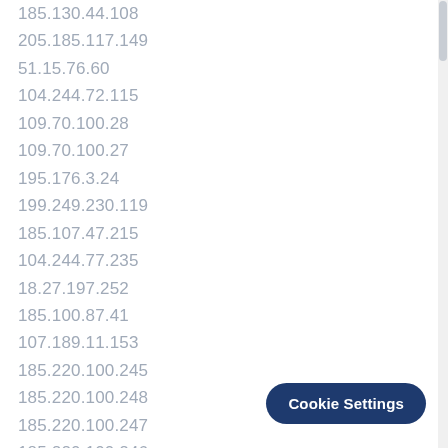185.130.44.108
205.185.117.149
51.15.76.60
104.244.72.115
109.70.100.28
109.70.100.27
195.176.3.24
199.249.230.119
185.107.47.215
104.244.77.235
18.27.197.252
185.100.87.41
107.189.11.153
185.220.100.245
185.220.100.248
185.220.100.247
185.220.100.246
185.220.100.250
185.220.100.251
185.220.100.249
185.220.100.244
Cookie Settings